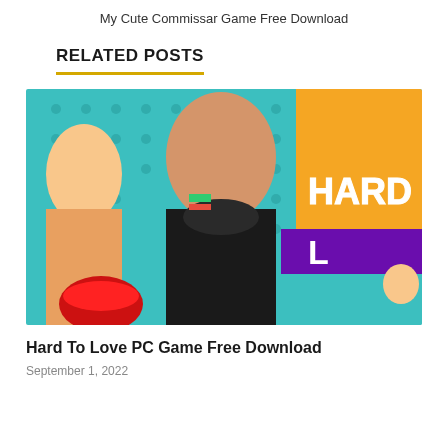My Cute Commissar Game Free Download
RELATED POSTS
[Figure (photo): Game cover art for Hard To Love PC Game showing animated female characters on a colorful background with text 'HARD' visible]
Hard To Love PC Game Free Download
September 1, 2022